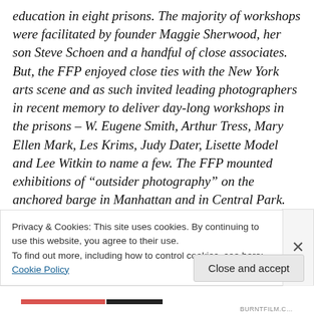education in eight prisons. The majority of workshops were facilitated by founder Maggie Sherwood, her son Steve Schoen and a handful of close associates. But, the FFP enjoyed close ties with the New York arts scene and as such invited leading photographers in recent memory to deliver day-long workshops in the prisons – W. Eugene Smith, Arthur Tress, Mary Ellen Mark, Les Krims, Judy Dater, Lisette Model and Lee Witkin to name a few. The FFP mounted exhibitions of “outsider photography” on the anchored barge in Manhattan and in Central Park.
Privacy & Cookies: This site uses cookies. By continuing to use this website, you agree to their use.
To find out more, including how to control cookies, see here: Cookie Policy